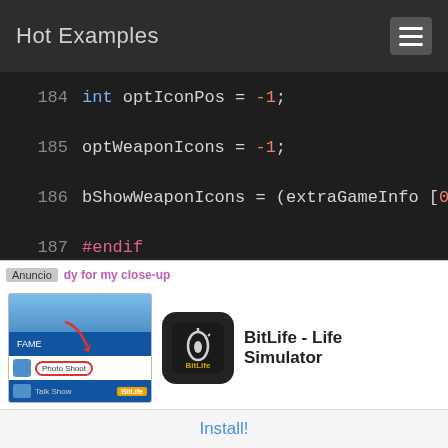Hot Examples
[Figure (screenshot): Code editor showing lines 184-198 of source code with syntax highlighting. Line 193 (m.Create(15);) is highlighted in green.]
[Figure (screenshot): Advertisement overlay for BitLife - Life Simulator app with install button]